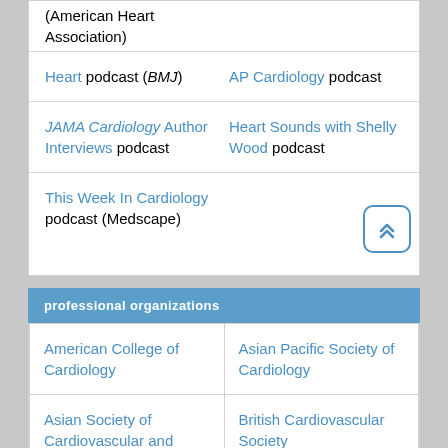(American Heart Association)
Heart podcast (BMJ) | AP Cardiology podcast
JAMA Cardiology Author Interviews podcast | Heart Sounds with Shelly Wood podcast
This Week In Cardiology podcast (Medscape)
professional organizations
| American College of Cardiology | Asian Pacific Society of Cardiology |
| Asian Society of Cardiovascular and Thoracic Surgery | British Cardiovascular Society |